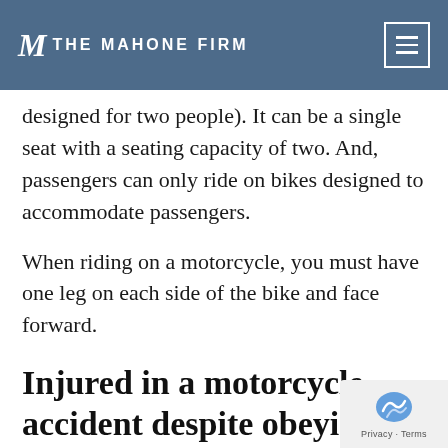THE MAHONE FIRM
designed for two people). It can be a single seat with a seating capacity of two. And, passengers can only ride on bikes designed to accommodate passengers.
When riding on a motorcycle, you must have one leg on each side of the bike and face forward.
Injured in a motorcycle accident despite obeying the laws?